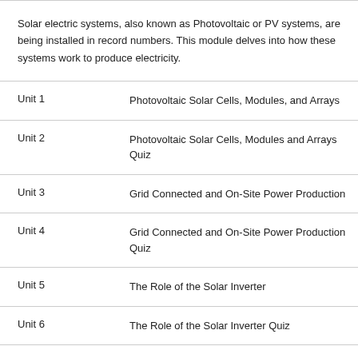Solar electric systems, also known as Photovoltaic or PV systems, are being installed in record numbers. This module delves into how these systems work to produce electricity.
| Unit | Title |
| --- | --- |
| Unit 1 | Photovoltaic Solar Cells, Modules, and Arrays |
| Unit 2 | Photovoltaic Solar Cells, Modules and Arrays Quiz |
| Unit 3 | Grid Connected and On-Site Power Production |
| Unit 4 | Grid Connected and On-Site Power Production Quiz |
| Unit 5 | The Role of the Solar Inverter |
| Unit 6 | The Role of the Solar Inverter Quiz |
| Unit 7 | Utility Metering of Solar |